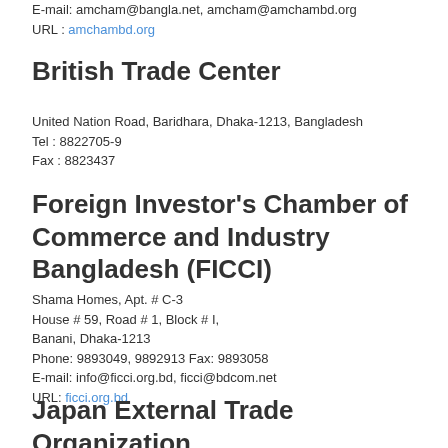E-mail: amcham@bangla.net, amcham@amchambd.org
URL : amchambd.org
British Trade Center
United Nation Road, Baridhara, Dhaka-1213, Bangladesh
Tel : 8822705-9
Fax : 8823437
Foreign Investor's Chamber of Commerce and Industry Bangladesh (FICCI)
Shama Homes, Apt. # C-3
House # 59, Road # 1, Block # I,
Banani, Dhaka-1213
Phone: 9893049, 9892913 Fax: 9893058
E-mail: info@ficci.org.bd, ficci@bdcom.net
URL: ficci.org.bd
Japan External Trade Organization (JETRO)